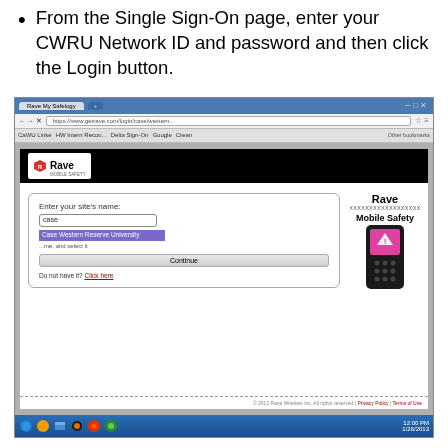From the Single Sign-On page, enter your CWRU Network ID and password and then click the Login button.
[Figure (screenshot): Screenshot of a web browser showing the Rave Mobile Safety login page. The page has a form to enter a site name with a dropdown showing 'Case Western Reserve University', and the Rave Mobile Safety logo and phone graphic on the right.]
If the Rave Mobile Safety log in page appears, type in "case" to bring up CWRU on the drop down list.